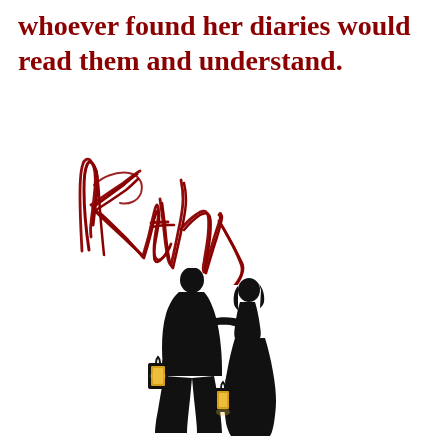whoever found her diaries would read them and understand.
[Figure (illustration): Cursive red script signature reading 'Kathy']
[Figure (illustration): Black silhouette of a couple standing together, one holding a lantern with glowing yellow light, the other holding a lantern below, facing each other]